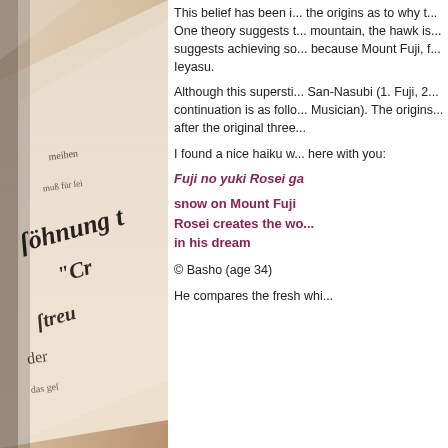[Figure (photo): Close-up photograph of an old book with gothic/blackletter German text, sepia-toned, showing pages at an angle with text including 'söhnung', 'Er', 'streu', and other German words in old script.]
This belief has been in... the origins as to why t... One theory suggests t... mountain, the hawk is... suggests achieving so... because Mount Fuji, f... Ieyasu.
Although this supersti... San-Nasubi (1. Fuji, 2... continuation is as follo... Musician). The origins... after the original three...
I found a nice haiku w... here with you:
Fuji no yuki Rosei ga
snow on Mount Fuji Rosei creates the wo... in his dream
© Basho (age 34)
He compares the fresh whi...